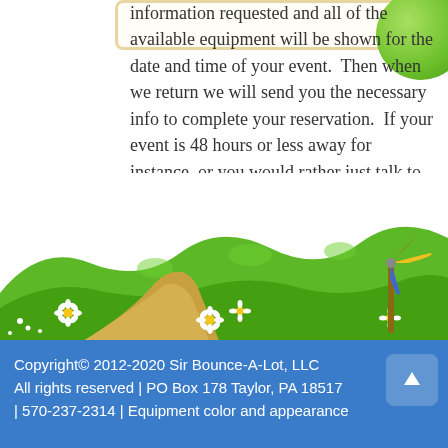information requested and all of the available equipment will be shown for the date and time of your event.  Then when we return we will send you the necessary info to complete your reservation.  If your event is 48 hours or less away for instance, or you would rather just talk to someone,  give us a call and we can put together a party package for you.
[Figure (illustration): Cartoon landscape with green rolling hills, white daisy flowers, a sandy path, and a colorful pinwheel/windmill on the right side. Blue balloon on left edge, green balloon on top right.]
Copyright© 2012-2020 Sir Bounce-A-Lot, LLC All rights reserved | PO Box 178 Taylor, PA 18517 | 570-237-2314 | Equipment color and appearance